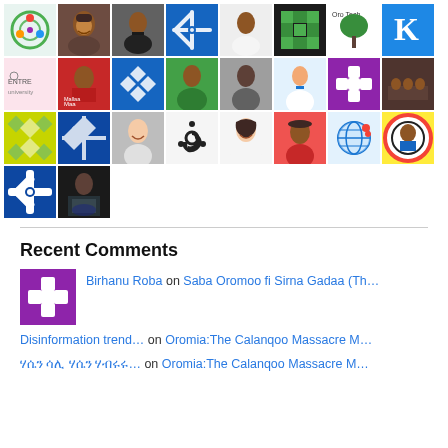[Figure (illustration): Grid of user avatars/profile pictures arranged in rows, showing various people, logos, and icons]
Recent Comments
Birhanu Roba on Saba Oromoo fi Sirna Gadaa (Th…
Disinformation trend… on Oromia:The Calanqoo Massacre M…
ሃሴን ሳሊ ሃሴን ሃብሩሩ… on Oromia:The Calanqoo Massacre M…